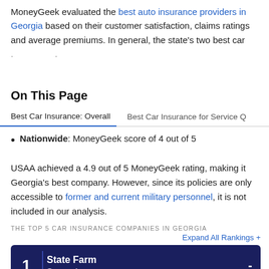MoneyGeek evaluated the best auto insurance providers in Georgia based on their customer satisfaction, claims ratings and average premiums. In general, the state's two best car ...
On This Page
Best Car Insurance: Overall    Best Car Insurance for Service Q
Nationwide: MoneyGeek score of 4 out of 5
USAA achieved a 4.9 out of 5 MoneyGeek rating, making it Georgia's best company. However, since its policies are only accessible to former and current military personnel, it is not included in our analysis.
THE TOP 5 CAR INSURANCE COMPANIES IN GEORGIA
Expand All Rankings +
1  State Farm  Score: 4  -